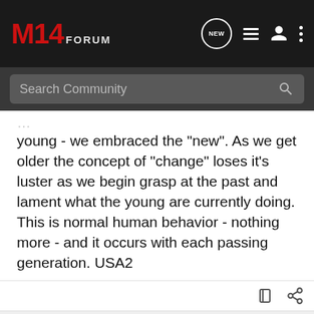M14 FORUM
Search Community
young - we embraced the "new". As we get older the concept of "change" loses it's luster as we begin grasp at the past and lament what the young are currently doing. This is normal human behavior - nothing more - and it occurs with each passing generation. USA2
MAC702 · Registered
Joined Jan 1, 2009 · 2,609 Posts
#88 · Jul 17, 2014
[Figure (screenshot): Advertisement banner: Shark's Edge logo with firearm parts image on left, text 'EXCEPTIONAL DESIGNS. EXCEPTIONAL CRAFTSMANSHIP.' on right]
CNels